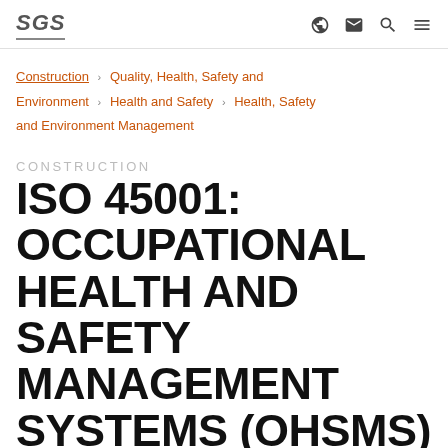SGS
Construction › Quality, Health, Safety and Environment › Health and Safety › Health, Safety and Environment Management
CONSTRUCTION
ISO 45001: OCCUPATIONAL HEALTH AND SAFETY MANAGEMENT SYSTEMS (OHSMS)